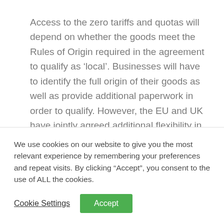Access to the zero tariffs and quotas will depend on whether the goods meet the Rules of Origin required in the agreement to qualify as ‘local’. Businesses will have to identify the full origin of their goods as well as provide additional paperwork in order to qualify. However, the EU and UK have jointly agreed additional flexibility in collecting documentary evidence to prove origin during the first year, to allow them to benefit from the preference despite the little time available
We use cookies on our website to give you the most relevant experience by remembering your preferences and repeat visits. By clicking “Accept”, you consent to the use of ALL the cookies.
Cookie Settings | Accept